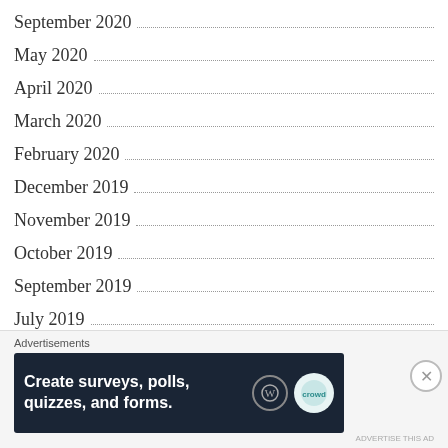September 2020
May 2020
April 2020
March 2020
February 2020
December 2019
November 2019
October 2019
September 2019
July 2019
June 2019
May 2019
Advertisements
[Figure (other): Advertisement banner: 'Create surveys, polls, quizzes, and forms.' with WordPress and Crowdsignal logos on dark background]